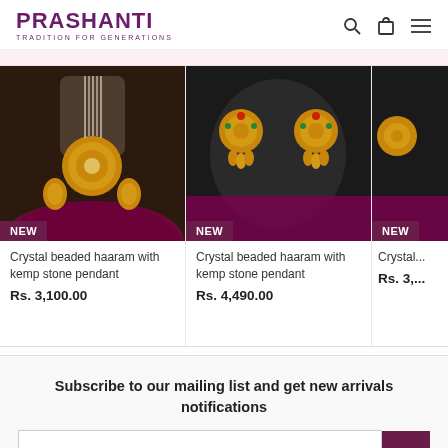PRASHANTI — TRADITION FOR GENERATIONS
[Figure (photo): Product photo: Crystal beaded haaram with kemp stone pendant on dark background with magenta fabric, labeled NEW]
Crystal beaded haaram with kemp stone pendant
Rs. 3,100.00
[Figure (photo): Product photo: Crystal beaded haaram with kemp stone pendant — gold earrings on dark display stand with magenta fabric, labeled NEW]
Crystal beaded haaram with kemp stone pendant
Rs. 4,490.00
[Figure (photo): Partial product photo labeled NEW, partially cropped]
Crystal... with pe...
Rs. 3,...
Subscribe to our mailing list and get new arrivals notifications